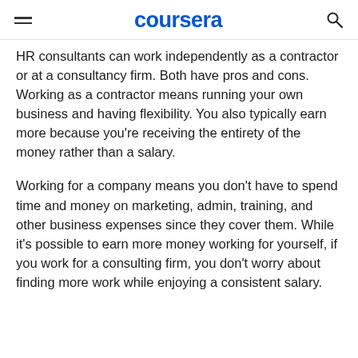coursera
HR consultants can work independently as a contractor or at a consultancy firm. Both have pros and cons. Working as a contractor means running your own business and having flexibility. You also typically earn more because you’re receiving the entirety of the money rather than a salary.
Working for a company means you don't have to spend time and money on marketing, admin, training, and other business expenses since they cover them. While it’s possible to earn more money working for yourself, if you work for a consulting firm, you don't worry about finding more work while enjoying a consistent salary.